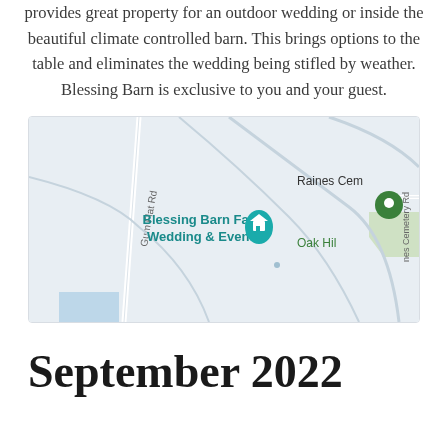provides great property for an outdoor wedding or inside the beautiful climate controlled barn. This brings options to the table and eliminates the wedding being stifled by weather. Blessing Barn is exclusive to you and your guest.
[Figure (map): Google Maps screenshot showing Blessing Barn Farm Wedding & Events location, with Gum Flat Rd on the left, Raines Cemetery and Oak Hill labels on the right, and Jones Cemetery Rd along the right edge.]
September 2022